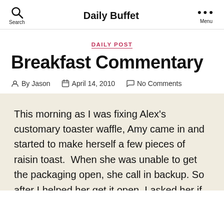Daily Buffet
DAILY POST
Breakfast Commentary
By Jason   April 14, 2010   No Comments
This morning as I was fixing Alex’s customary toaster waffle, Amy came in and started to make herself a few pieces of raisin toast.  When she was unable to get the packaging open, she call in backup. So after I helped her get it open, I asked her if she wanted the heal, to which